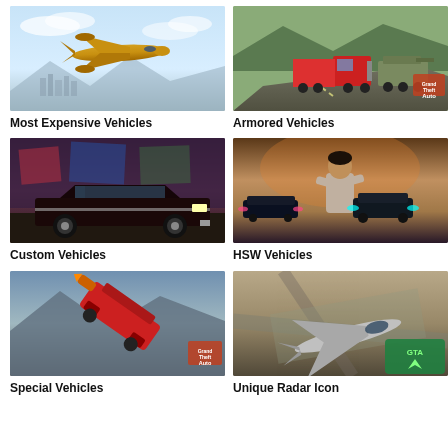[Figure (photo): Gold private jet airplane flying over city skyline with blue sky]
Most Expensive Vehicles
[Figure (photo): Red semi truck and armored military vehicles on a road]
Armored Vehicles
[Figure (photo): Custom lowrider car in front of graffiti wall in urban setting]
Custom Vehicles
[Figure (photo): Character standing with arms crossed in front of glowing HSW sports cars]
HSW Vehicles
[Figure (photo): Special vehicle airborne over mountainous terrain with GTA logo]
Special Vehicles
[Figure (photo): Aerial view of jet aircraft on tarmac with radar icon overlay]
Unique Radar Icon